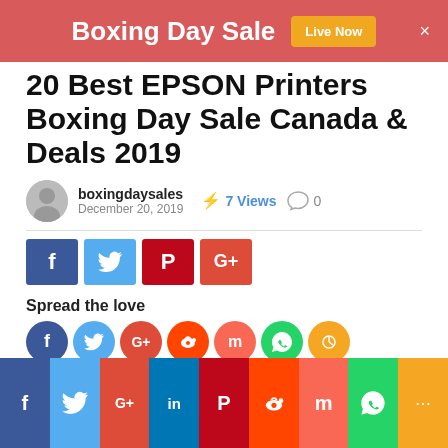Boxing Day Sale  Live Now  ×
20 Best EPSON Printers Boxing Day Sale Canada & Deals 2019
boxingdaysales  December 20, 2019  ⚡ 7 Views  💬 0
[Figure (infographic): Social share buttons: Facebook, Twitter, Pinterest, Google+]
Spread the love
[Figure (infographic): Social share circles: Facebook, Twitter, Google+, Reddit, Mix, WhatsApp, Share]
[Figure (infographic): Boxing Day Sale banner with red corner triangles]
f  Twitter  G+  in  P  Reddit  m  WhatsApp  Share